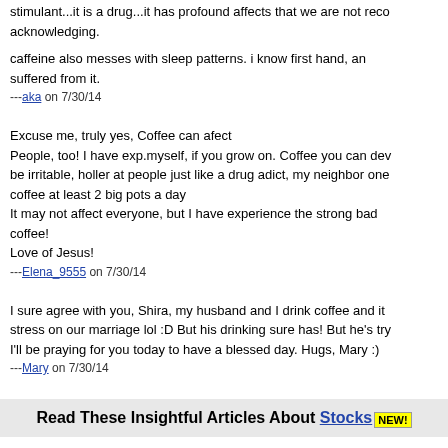stimulant...it is a drug...it has profound affects that we are not recognizing. caffeine also messes with sleep patterns. i know first hand, and have suffered from it.
---aka on 7/30/14
Excuse me, truly yes, Coffee can afect People, too! I have exp.myself, if you grow on. Coffee you can develop to be irritable, holler at people just like a drug adict, my neighbor one coffee at least 2 big pots a day It may not affect everyone, but I have experience the strong bad coffee! Love of Jesus!
---Elena_9555 on 7/30/14
I sure agree with you, Shira, my husband and I drink coffee and it stress on our marriage lol :D But his drinking sure has! But he's trying. I'll be praying for you today to have a blessed day. Hugs, Mary :)
---Mary on 7/30/14
Read These Insightful Articles About Stocks NEW!
Wow, you sound like you're in an altered state of consciousness.